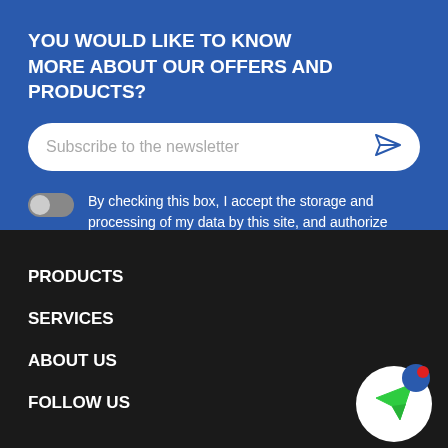YOU WOULD LIKE TO KNOW MORE ABOUT OUR OFFERS AND PRODUCTS?
Subscribe to the newsletter
By checking this box, I accept the storage and processing of my data by this site, and authorize APEX to contact me.
PRODUCTS
SERVICES
ABOUT US
FOLLOW US
[Figure (illustration): Chat/messaging button icon - white circle with green paper plane arrow and blue notification badge with red dot]